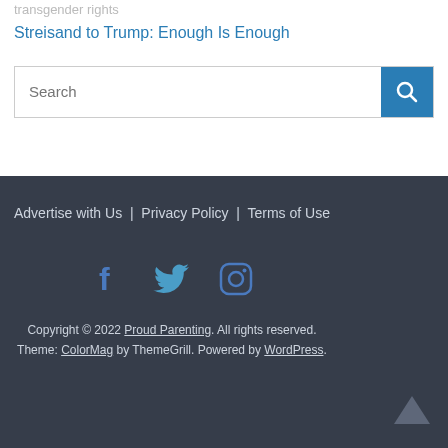transgender rights
Streisand to Trump: Enough Is Enough
Search
Advertise with Us | Privacy Policy | Terms of Use
Copyright © 2022 Proud Parenting. All rights reserved.
Theme: ColorMag by ThemeGrill. Powered by WordPress.